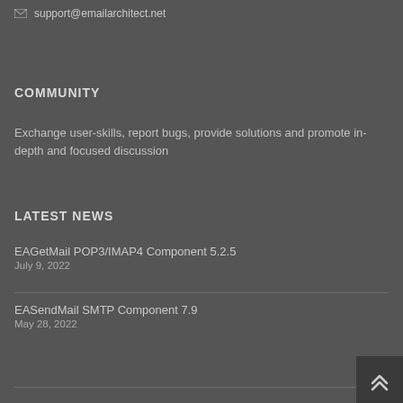email address.
✉ support@emailarchitect.net
COMMUNITY
Exchange user-skills, report bugs, provide solutions and promote in-depth and focused discussion
LATEST NEWS
EAGetMail POP3/IMAP4 Component 5.2.5
July 9, 2022
EASendMail SMTP Component 7.9
May 28, 2022